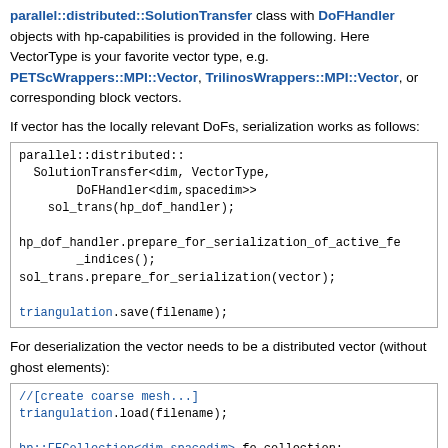parallel::distributed::SolutionTransfer class with DoFHandler objects with hp-capabilities is provided in the following. Here VectorType is your favorite vector type, e.g. PETScWrappers::MPI::Vector, TrilinosWrappers::MPI::Vector, or corresponding block vectors.
If vector has the locally relevant DoFs, serialization works as follows:
[Figure (other): Code block showing parallel::distributed::SolutionTransfer usage for serialization with hp_dof_handler and sol_trans]
For deserialization the vector needs to be a distributed vector (without ghost elements):
[Figure (other): Code block showing deserialization with triangulation.load, hp::FECollection and DoFHandler]